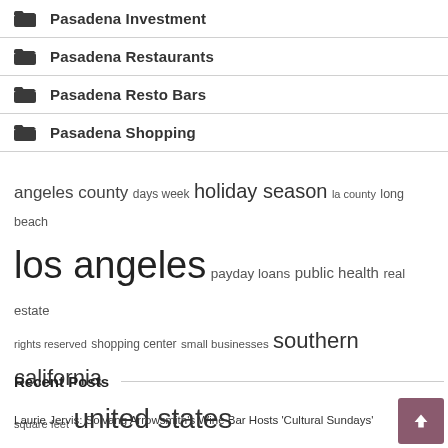Pasadena Investment
Pasadena Restaurants
Pasadena Resto Bars
Pasadena Shopping
angeles county  days week  holiday season  la county  long beach  los angeles  payday loans  public health  real estate  rights reserved  shopping center  small businesses  southern california  square feet  united states
Recent Posts
Laurie Jervis: Solvang Arrowsmith's Wine Bar Hosts 'Cultural Sundays'